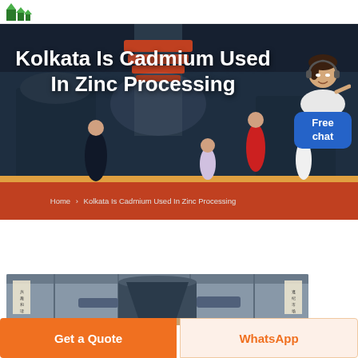[Logo: construction/mining equipment company]
Kolkata Is Cadmium Used In Zinc Processing
Home > Kolkata Is Cadmium Used In Zinc Processing
[Figure (photo): Industrial machinery / chat widget with avatar and Free chat bubble]
[Figure (photo): Industrial facility interior with cone crusher machinery, Chinese signage on banners]
Get a Quote
WhatsApp